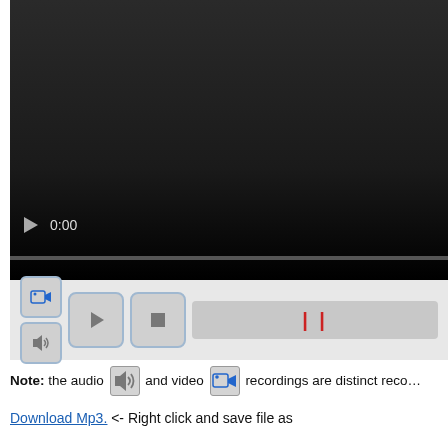[Figure (screenshot): A video player widget showing a dark/black video area with play button and 0:00 timestamp, a progress bar, and below it a controls panel with camera icon, speaker icon, play button, stop button, and a pause indicator progress area.]
Note: the audio [speaker icon] and video [camera icon] recordings are distinct recordings, there may be key differences between the two. The audio recordings are from the phone meeting and will have more accurate timestamps. Use the icons to switch.
Download Mp3. <- Right click and save file as